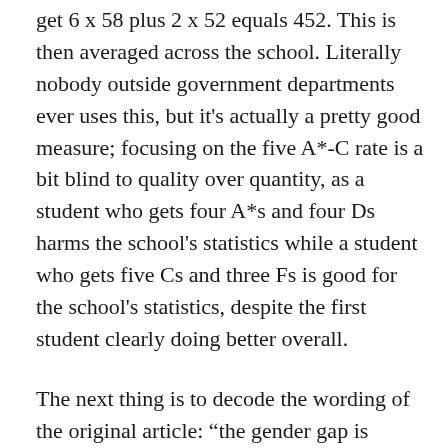get 6 x 58 plus 2 x 52 equals 452. This is then averaged across the school. Literally nobody outside government departments ever uses this, but it's actually a pretty good measure; focusing on the five A*-C rate is a bit blind to quality over quantity, as a student who gets four A*s and four Ds harms the school's statistics while a student who gets five Cs and three Fs is good for the school's statistics, despite the first student clearly doing better overall.
The next thing is to decode the wording of the original article: “the gender gap is bigger at worse schools”. There are several ways of